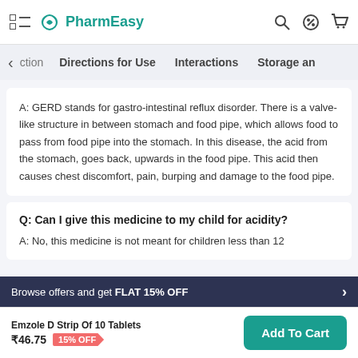PharmEasy
ction  Directions for Use  Interactions  Storage an
A: GERD stands for gastro-intestinal reflux disorder. There is a valve-like structure in between stomach and food pipe, which allows food to pass from food pipe into the stomach. In this disease, the acid from the stomach, goes back, upwards in the food pipe. This acid then causes chest discomfort, pain, burping and damage to the food pipe.
Q: Can I give this medicine to my child for acidity?
A: No, this medicine is not meant for children less than 12
Browse offers and get FLAT 15% OFF
Emzole D Strip Of 10 Tablets ₹46.75 15% OFF
Add To Cart